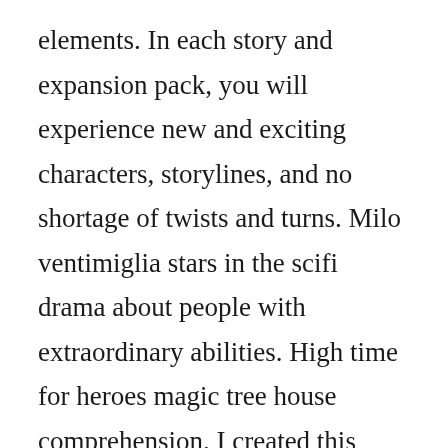elements. In each story and expansion pack, you will experience new and exciting characters, storylines, and no shortage of twists and turns. Milo ventimiglia stars in the scifi drama about people with extraordinary abilities. High time for heroes magic tree house comprehension. I created this comprehension activity to complement the magic tree house high time for heroes chapter book. High time for heroes features jack and annie back in egypt, still seeking the secrets of greatness for merlin. Jack and annie are on a mission from merlin the magician. The magic